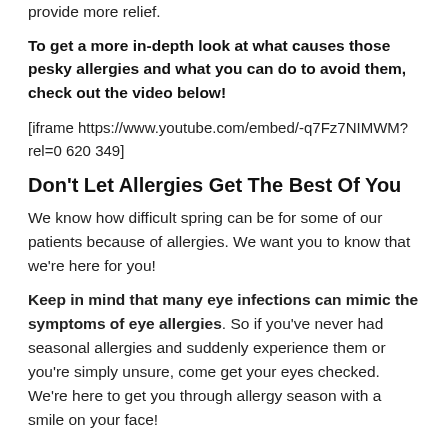provide more relief.
To get a more in-depth look at what causes those pesky allergies and what you can do to avoid them, check out the video below!
[iframe https://www.youtube.com/embed/-q7Fz7NIMWM?rel=0 620 349]
Don't Let Allergies Get The Best Of You
We know how difficult spring can be for some of our patients because of allergies. We want you to know that we're here for you!
Keep in mind that many eye infections can mimic the symptoms of eye allergies. So if you've never had seasonal allergies and suddenly experience them or you're simply unsure, come get your eyes checked. We're here to get you through allergy season with a smile on your face!